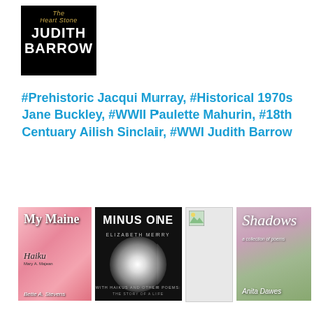[Figure (illustration): Book cover for 'The Heart Stone' by Judith Barrow, black background with white bold text]
#Prehistoric Jacqui Murray, #Historical 1970s Jane Buckley, #WWII Paulette Mahurin, #18th Centuary Ailish Sinclair, #WWI Judith Barrow
[Figure (illustration): Four book covers: My Maine Haiku by Bette A. Stevens (pink floral), Minus One by Elizabeth Merry (black with glowing orb), a broken/missing image placeholder, and Shadows a collection of poems by Anita Dawes (floral soft focus)]